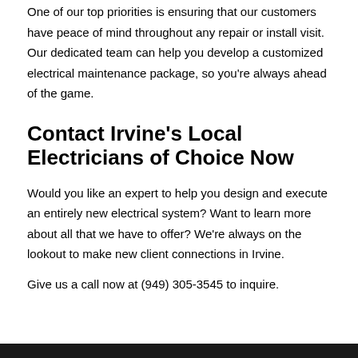One of our top priorities is ensuring that our customers have peace of mind throughout any repair or install visit. Our dedicated team can help you develop a customized electrical maintenance package, so you're always ahead of the game.
Contact Irvine's Local Electricians of Choice Now
Would you like an expert to help you design and execute an entirely new electrical system? Want to learn more about all that we have to offer? We're always on the lookout to make new client connections in Irvine.
Give us a call now at (949) 305-3545 to inquire.